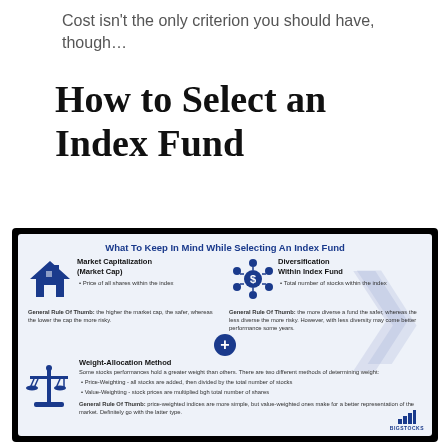Cost isn't the only criterion you should have, though…
How to Select an Index Fund
[Figure (infographic): Infographic titled 'What To Keep In Mind While Selecting An Index Fund' with three sections: Market Capitalization (Market Cap) with a house icon and bullet 'Price of all shares within the index', rule 'the higher the market cap, the safer, whereas the lower the cap the more risky'; Diversification Within Index Fund with a network/dollar icon and bullet 'Total number of stocks within the index', rule 'the more diverse a fund the safer, whereas the less diverse the more risky. However, with less diversity may come better performance some years'; Weight-Allocation Method with a scales icon and bullets on Price-Weighting and Value-Weighting, rule about price-weighted vs value-weighted indices. BIGSTOCKS logo bottom right.]